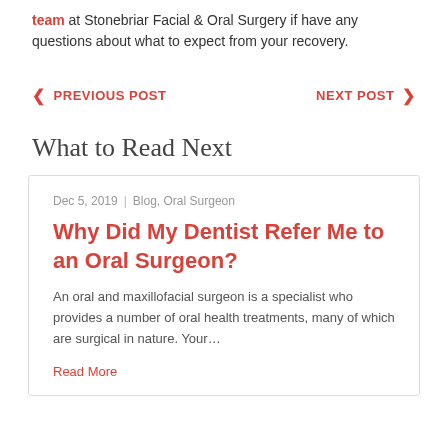team at Stonebriar Facial & Oral Surgery if have any questions about what to expect from your recovery.
< PREVIOUS POST   NEXT POST >
What to Read Next
Dec 5, 2019 | Blog, Oral Surgeon
Why Did My Dentist Refer Me to an Oral Surgeon?
An oral and maxillofacial surgeon is a specialist who provides a number of oral health treatments, many of which are surgical in nature. Your...
Read More